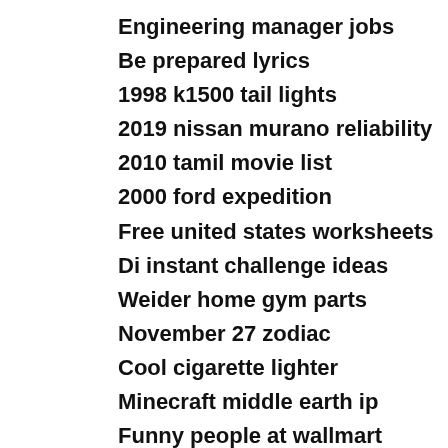Engineering manager jobs
Be prepared lyrics
1998 k1500 tail lights
2019 nissan murano reliability
2010 tamil movie list
2000 ford expedition
Free united states worksheets
Di instant challenge ideas
Weider home gym parts
November 27 zodiac
Cool cigarette lighter
Minecraft middle earth ip
Funny people at wallmart